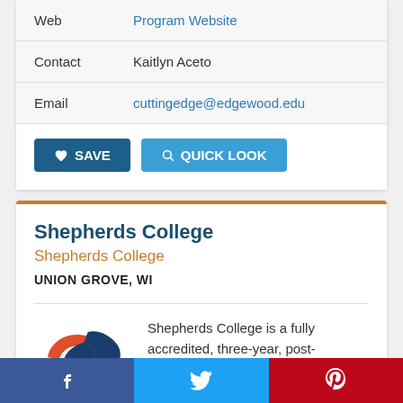| Web | Program Website |
| Contact | Kaitlyn Aceto |
| Email | cuttingedge@edgewood.edu |
SAVE   QUICK LOOK
Shepherds College
Shepherds College
UNION GROVE, WI
[Figure (logo): Shepherds College logo — orange S and dark blue eagle/bird shape forming 'SC']
Shepherds College is a fully accredited, three-year, post-secondary educational program